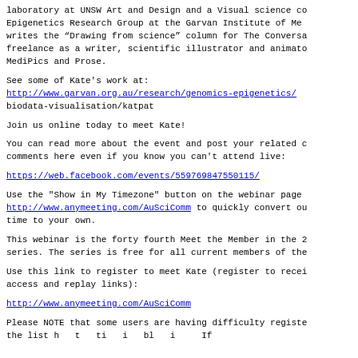laboratory at UNSW Art and Design and a Visual science co Epigenetics Research Group at the Garvan Institute of Me writes the "Drawing from science" column for The Conversa freelance as a writer, scientific illustrator and animato MediPics and Prose.
See some of Kate's work at:
http://www.garvan.org.au/research/genomics-epigenetics/
biodata-visualisation/katpat
Join us online today to meet Kate!
You can read more about the event and post your related c comments here even if you know you can't attend live:
https://web.facebook.com/events/559769847550115/
Use the "Show in My Timezone" button on the webinar page http://www.anymeeting.com/AuSciComm to quickly convert ou time to your own.
This webinar is the forty fourth Meet the Member in the 2 series. The series is free for all current members of the
Use this link to register to meet Kate (register to recei access and replay links):
http://www.anymeeting.com/AuSciComm
Please NOTE that some users are having difficulty registe the list h t ti i bl i If